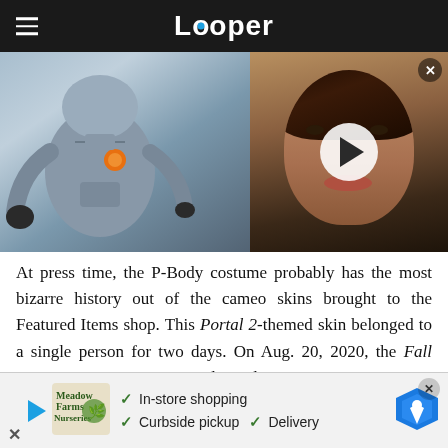Looper
[Figure (screenshot): Two-panel image: left side shows a P-Body robot from Portal 2 game (gray robot with orange accent), right side shows a curly-haired child's face with a video play button overlay.]
At press time, the P-Body costume probably has the most bizarre history out of the cameo skins brought to the Featured Items shop. This Portal 2-themed skin belonged to a single person for two days. On Aug. 20, 2020, the Fall Guys Twitter account exclaimed, "OKAY, I'VE GONE ROGUE AND DONE A
[Figure (screenshot): Advertisement banner: Meadow Farms Nurseries ad showing in-store shopping, curbside pickup, and delivery options with checkmarks and a Google Maps icon.]